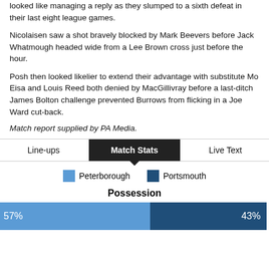looked like managing a reply as they slumped to a sixth defeat in their last eight league games.
Nicolaisen saw a shot bravely blocked by Mark Beevers before Jack Whatmough headed wide from a Lee Brown cross just before the hour.
Posh then looked likelier to extend their advantage with substitute Mo Eisa and Louis Reed both denied by MacGillivray before a last-ditch James Bolton challenge prevented Burrows from flicking in a Joe Ward cut-back.
Match report supplied by PA Media.
[Figure (infographic): Tab bar with three tabs: Line-ups, Match Stats (active/selected), Live Text]
[Figure (infographic): Legend showing Peterborough (light blue) and Portsmouth (dark blue)]
[Figure (stacked-bar-chart): Possession]